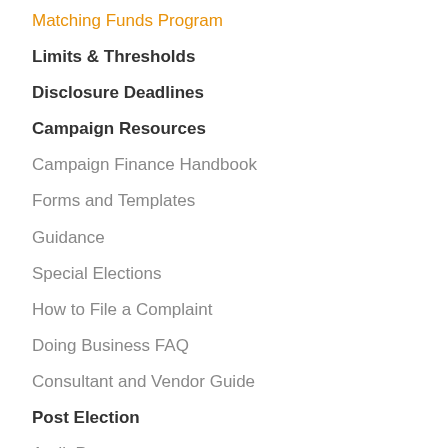Matching Funds Program
Limits & Thresholds
Disclosure Deadlines
Campaign Resources
Campaign Finance Handbook
Forms and Templates
Guidance
Special Elections
How to File a Complaint
Doing Business FAQ
Consultant and Vendor Guide
Post Election
Audit Process
Bank Balance and Fundraising
Post-Election Information